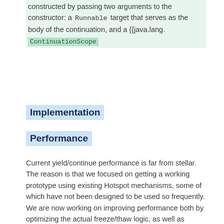constructed by passing two arguments to the constructor: a Runnable target that serves as the body of the continuation, and a {{java.lang. ContinuationScope
Implementation
Performance
Current yield/continue performance is far from stellar. The reason is that we focused on getting a working prototype using existing Hotspot mechanisms, some of which have not been designed to be used so frequently. We are now working on improving performance both by optimizing the actual freeze/thaw logic, as well as optimizing those existing VM mechanisms.
On another, time-critical d...